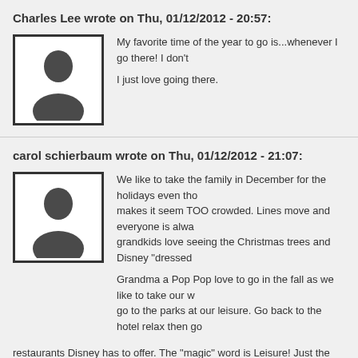Charles Lee wrote on Thu, 01/12/2012 - 20:57:
[Figure (illustration): Default user avatar silhouette placeholder image, black and white with dark border]
My favorite time of the year to go is...whenever I go there! I don't I just love going there.
carol schierbaum wrote on Thu, 01/12/2012 - 21:07:
[Figure (illustration): Default user avatar silhouette placeholder image, black and white with dark border]
We like to take the family in December for the holidays even tho makes it seem TOO crowded. Lines move and everyone is alwa grandkids love seeing the Christmas trees and Disney "dressed
Grandma a Pop Pop love to go in the fall as we like to take our w go to the parks at our leisure. Go back to the hotel relax then go restaurants Disney has to offer. The "magic" word is Leisure! Just the two of us, afte
:)